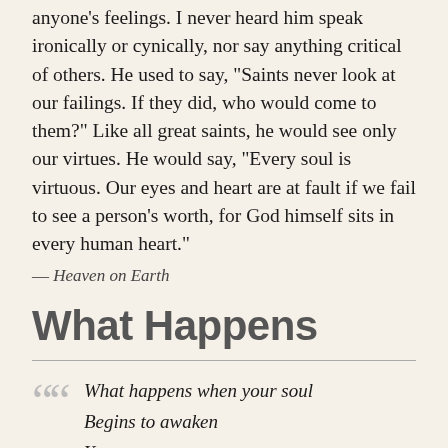anyone's feelings. I never heard him speak ironically or cynically, nor say anything critical of others. He used to say, “Saints never look at our failings. If they did, who would come to them?” Like all great saints, he would see only our virtues. He would say, “Every soul is virtuous. Our eyes and heart are at fault if we fail to see a person’s worth, for God himself sits in every human heart.”
— Heaven on Earth
What Happens
What happens when your soul
Begins to awaken
Your eyes
And your heart
And the cells of your body